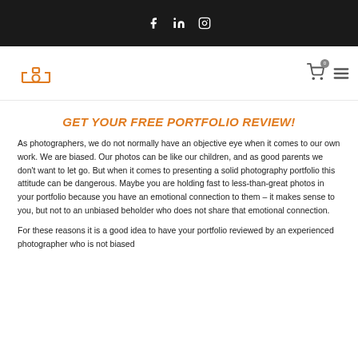Social media icons: Facebook, LinkedIn, Instagram
[Figure (logo): Christian Stiebahl Photography logo with camera icon in orange]
GET YOUR FREE PORTFOLIO REVIEW!
As photographers, we do not normally have an objective eye when it comes to our own work. We are biased. Our photos can be like our children, and as good parents we don't want to let go. But when it comes to presenting a solid photography portfolio this attitude can be dangerous. Maybe you are holding fast to less-than-great photos in your portfolio because you have an emotional connection to them – it makes sense to you, but not to an unbiased beholder who does not share that emotional connection.
For these reasons it is a good idea to have your portfolio reviewed by an experienced photographer who is not biased